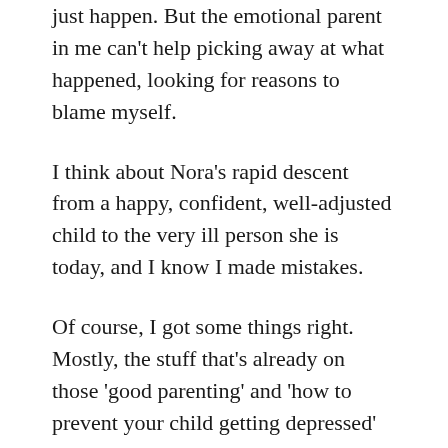just happen. But the emotional parent in me can't help picking away at what happened, looking for reasons to blame myself.
I think about Nora's rapid descent from a happy, confident, well-adjusted child to the very ill person she is today, and I know I made mistakes.
Of course, I got some things right. Mostly, the stuff that's already on those 'good parenting' and 'how to prevent your child getting depressed' lists.
If you're reading this, chances are – like me – you're worrying about other stuff; the stuff that doesn't appear on any generic list and is specific to your child, and